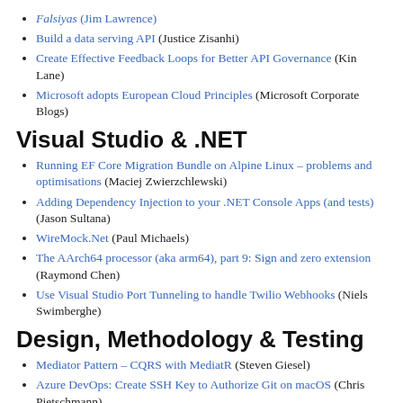Build a data serving API (Justice Zisanhi)
Create Effective Feedback Loops for Better API Governance (Kin Lane)
Microsoft adopts European Cloud Principles (Microsoft Corporate Blogs)
Visual Studio & .NET
Running EF Core Migration Bundle on Alpine Linux – problems and optimisations (Maciej Zwierzchlewski)
Adding Dependency Injection to your .NET Console Apps (and tests) (Jason Sultana)
WireMock.Net (Paul Michaels)
The AArch64 processor (aka arm64), part 9: Sign and zero extension (Raymond Chen)
Use Visual Studio Port Tunneling to handle Twilio Webhooks (Niels Swimberghe)
Design, Methodology & Testing
Mediator Pattern – CQRS with MediatR (Steven Giesel)
Azure DevOps: Create SSH Key to Authorize Git on macOS (Chris Pietschmann)